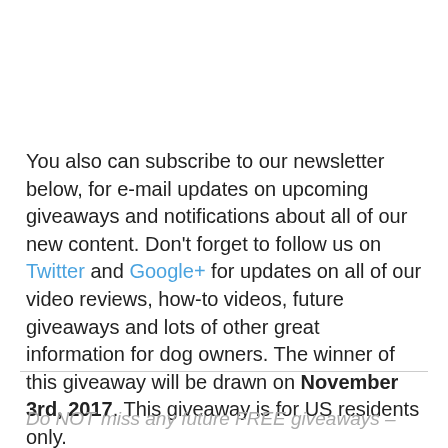You also can subscribe to our newsletter below, for e-mail updates on upcoming giveaways and notifications about all of our new content. Don't forget to follow us on Twitter and Google+ for updates on all of our video reviews, how-to videos, future giveaways and lots of other great information for dog owners. The winner of this giveaway will be drawn on November 3rd, 2017. This giveaway is for US residents only.
Do NOT miss any future FREE giveaways –